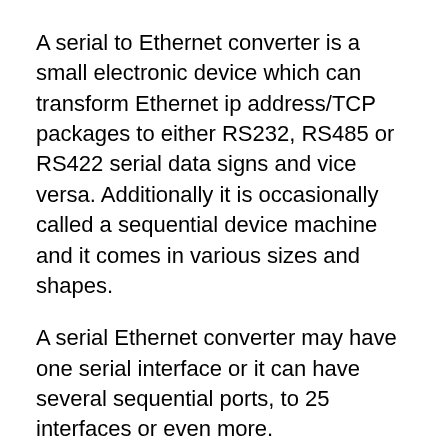A serial to Ethernet converter is a small electronic device which can transform Ethernet ip address/TCP packages to either RS232, RS485 or RS422 serial data signs and vice versa. Additionally it is occasionally called a sequential device machine and it comes in various sizes and shapes.
A serial Ethernet converter may have one serial interface or it can have several sequential ports, to 25 interfaces or even more.
Some Ethernet converters just has an RS-232 interface and a number of has an RS485 software and an RS232, among others the others H-AS all 3 interfaces (RS-232, RS485 and RS-422) constructed in.
Most typically it can be used for linking a serial RS-232, RS485 or RS-422 apparatus such as a commercial device into a pc over a typical LAN system, with a serial